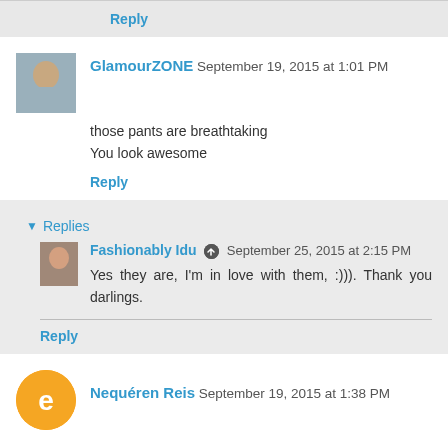Reply
GlamourZONE  September 19, 2015 at 1:01 PM
those pants are breathtaking
You look awesome
Reply
▾ Replies
Fashionably Idu  September 25, 2015 at 2:15 PM
Yes they are, I'm in love with them, :))). Thank you darlings.
Reply
Nequéren Reis  September 19, 2015 at 1:38 PM